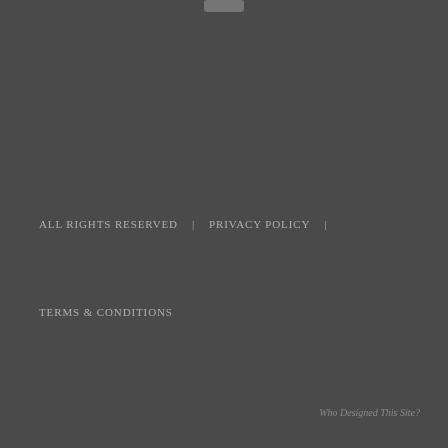[Figure (other): Small grey rounded rectangle element at top center, resembling a UI button or toggle]
ALL RIGHTS RESERVED  |  PRIVACY POLICY  |
TERMS & CONDITIONS
Who Designed This Site?